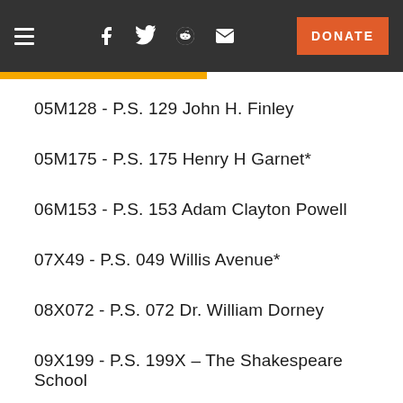Navigation header with hamburger menu, social icons (Facebook, Twitter, Reddit, Email), and DONATE button
05M128 - P.S. 129 John H. Finley
05M175 - P.S. 175 Henry H Garnet*
06M153 - P.S. 153 Adam Clayton Powell
07X49 - P.S. 049 Willis Avenue*
08X072 - P.S. 072 Dr. William Dorney
09X199 - P.S. 199X – The Shakespeare School
10X207 - Milton Fein School...